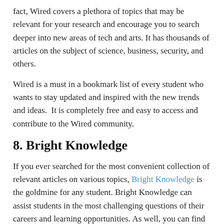fact, Wired covers a plethora of topics that may be relevant for your research and encourage you to search deeper into new areas of tech and arts. It has thousands of articles on the subject of science, business, security, and others.
Wired is a must in a bookmark list of every student who wants to stay updated and inspired with the new trends and ideas.  It is completely free and easy to access and contribute to the Wired community.
8. Bright Knowledge
If you ever searched for the most convenient collection of relevant articles on various topics, Bright Knowledge is the goldmine for any student. Bright Knowledge can assist students in the most challenging questions of their careers and learning opportunities. As well, you can find much helpful advice from health and wellbeing to money and housing.
Without a doubt, Bright Knowledge is a saving grace for anyone who doesn't have external support. The well-written and